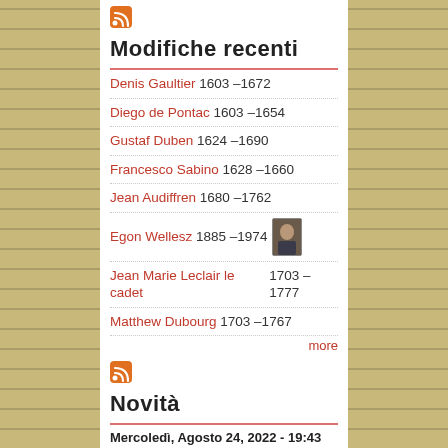[Figure (logo): RSS feed icon (orange)]
Modifiche recenti
Denis Gaultier 1603 –1672
Diego de Pontac 1603 –1654
Gustaf Duben 1624 –1690
Francesco Sabino 1628 –1660
Jean Audiffren 1680 –1762
Egon Wellesz 1885 –1974
Jean Marie Leclair le cadet 1703 –1777
Matthew Dubourg 1703 –1767
more
[Figure (logo): RSS feed icon (orange)]
Novità
Mercoledì, Agosto 24, 2022 - 19:43
Peter Diesenberger wins composition competition
Martedì, Agosto 2, 2022 - 16:05
Kolja Lessing receives Bundesverdienstkreuz